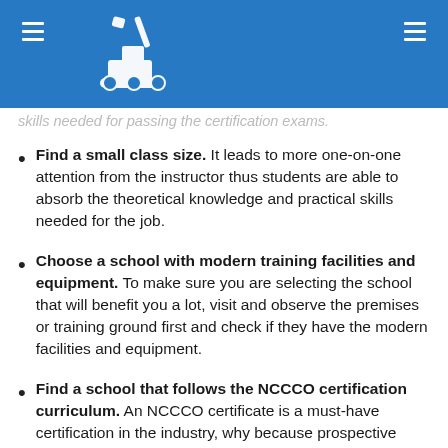skills needed for passing the certification exams.
Find a small class size. It leads to more one-on-one attention from the instructor thus students are able to absorb the theoretical knowledge and practical skills needed for the job.
Choose a school with modern training facilities and equipment. To make sure you are selecting the school that will benefit you a lot, visit and observe the premises or training ground first and check if they have the modern facilities and equipment.
Find a school that follows the NCCCO certification curriculum. An NCCCO certificate is a must-have certification in the industry, why because prospective employers ask for this